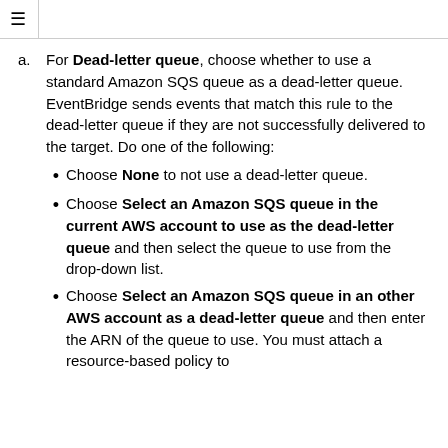≡
For Dead-letter queue, choose whether to use a standard Amazon SQS queue as a dead-letter queue. EventBridge sends events that match this rule to the dead-letter queue if they are not successfully delivered to the target. Do one of the following:
Choose None to not use a dead-letter queue.
Choose Select an Amazon SQS queue in the current AWS account to use as the dead-letter queue and then select the queue to use from the drop-down list.
Choose Select an Amazon SQS queue in an other AWS account as a dead-letter queue and then enter the ARN of the queue to use. You must attach a resource-based policy to